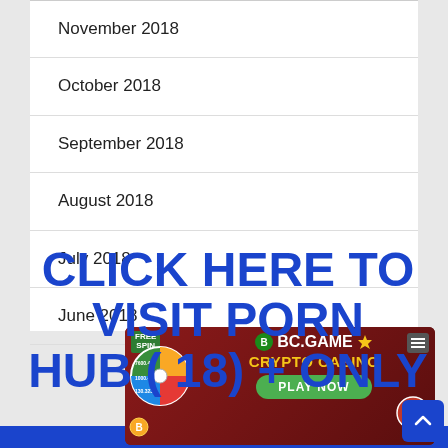November 2018
October 2018
September 2018
August 2018
July 2018
June 2018
[Figure (other): Overlay ad text: CLICK HERE TO VISIT PORN HUB ( 18) + ONLY]
[Figure (other): BC.GAME Crypto Casino advertisement banner with FREE SPIN wheel, dinosaur character, PLAY NOW button]